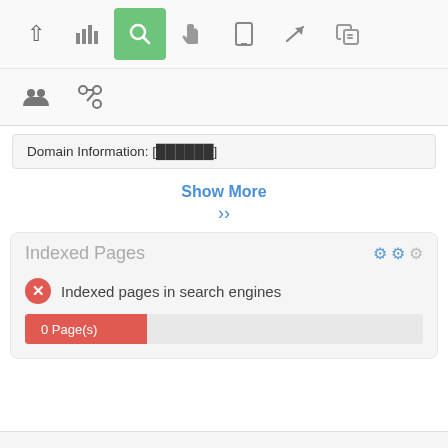[Figure (screenshot): Toolbar row 1 with navigation icons: up arrow, bar chart, search (active/green), pointer, mobile, rocket, thumbs up]
[Figure (screenshot): Toolbar row 2 with people/group icon and link/chain icon]
Domain Information: [▓▓▓▓▓▓]
Show More
Indexed Pages
Indexed pages in search engines
0 Page(s)